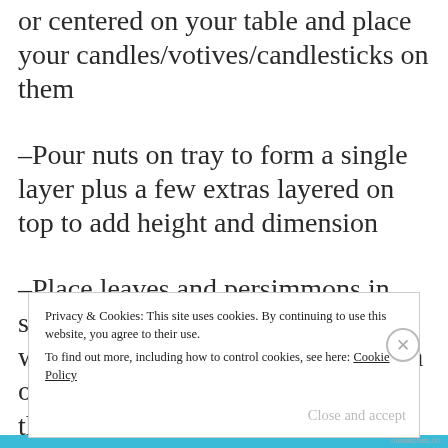or centered on your table and place your candles/votives/candlesticks on them
-Pour nuts on tray to form a single layer plus a few extras layered on top to add height and dimension
-Place leaves and persimmons in small clusters around the trays, work on this in batches, focusing on one section at a time and spacing them out
Privacy & Cookies: This site uses cookies. By continuing to use this website, you agree to their use. To find out more, including how to control cookies, see here: Cookie Policy
Close and accept